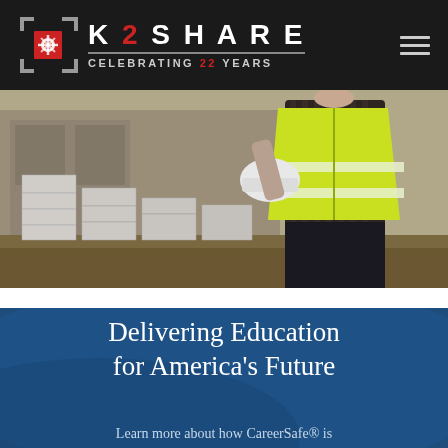[Figure (logo): K2Share logo with red bracket icon and tagline 'CELEBRATING 22 YEARS']
[Figure (photo): Construction worker wearing a yellow hi-visibility vest, viewed from behind, holding a hard hat, standing near concrete blocks at a construction site]
Delivering Education for America's Future
Learn more about how CareerSafe® is